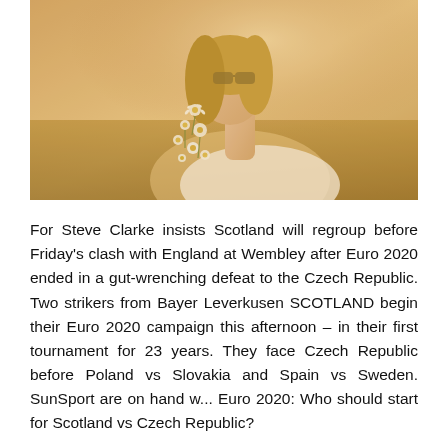[Figure (photo): A woman with long blonde hair holding flowers (daisies) against a warm golden field background, wearing a white outfit. The photo has a soft, warm vintage tone.]
For Steve Clarke insists Scotland will regroup before Friday's clash with England at Wembley after Euro 2020 ended in a gut-wrenching defeat to the Czech Republic. Two strikers from Bayer Leverkusen SCOTLAND begin their Euro 2020 campaign this afternoon – in their first tournament for 23 years. They face Czech Republic before Poland vs Slovakia and Spain vs Sweden. SunSport are on hand w... Euro 2020: Who should start for Scotland vs Czech Republic?